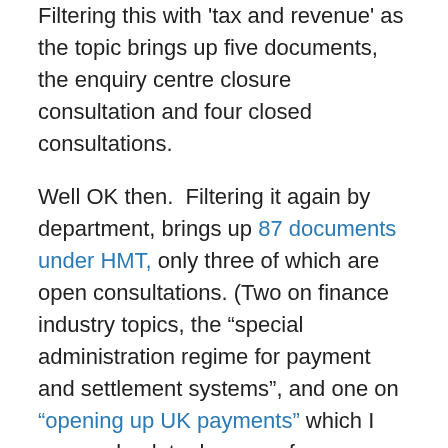Filtering this with 'tax and revenue' as the topic brings up five documents, the enquiry centre closure consultation and four closed consultations.
Well OK then.  Filtering it again by department, brings up 87 documents under HMT, only three of which are open consultations. (Two on finance industry topics, the "special administration regime for payment and settlement systems", and one on "opening up UK payments" which I may go back to, because from a cursory glance it looks to be about abolishing cheques) and – finally – a relevant one, yet another tweak to the REITs regime, the rules on Real Estate Investment Trusts.
Filtering it by department again but this time scrolling down to find HMRC brings up fifteen results.  Only one of those is an open consultation, and it's our old friend "Supporting Customers Who Need Extra Help: A New...